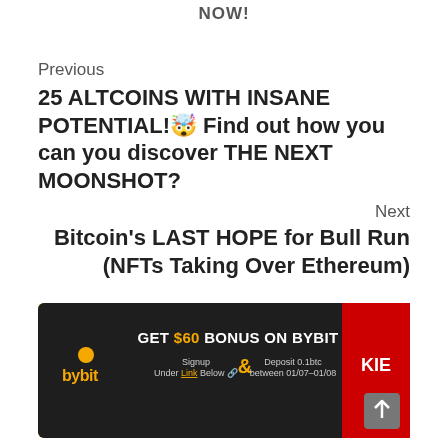NOW!
Previous
25 ALTCOINS WITH INSANE POTENTIAL!🤯 Find out how you can you discover THE NEXT MOONSHOT?
Next
Bitcoin's LAST HOPE for Bull Run (NFTs Taking Over Ethereum)
[Figure (infographic): Bybit exchange advertisement banner: 'GET $60 BONUS ON BYBIT' — Signup Under Link Below & Deposit 0.1btc between 01/07–01/08. Black and gold color scheme with Bybit logo on left and a KIE logo on right.]